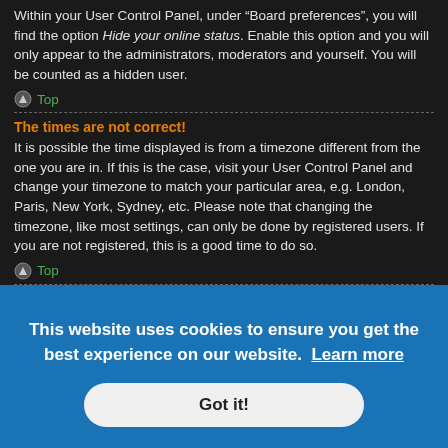Within your User Control Panel, under “Board preferences”, you will find the option Hide your online status. Enable this option and you will only appear to the administrators, moderators and yourself. You will be counted as a hidden user.
Top
The times are not correct!
It is possible the time displayed is from a timezone different from the one you are in. If this is the case, visit your User Control Panel and change your timezone to match your particular area, e.g. London, Paris, New York, Sydney, etc. Please note that changing the timezone, like most settings, can only be done by registered users. If you are not registered, this is a good time to do so.
Top
I changed the timezone and the time is still wrong!
This website uses cookies to ensure you get the best experience on our website. Learn more
Got it!
translated this board into your language. Try asking a board administrator if they can install the language pack you need. If the language pack does not exist, feel